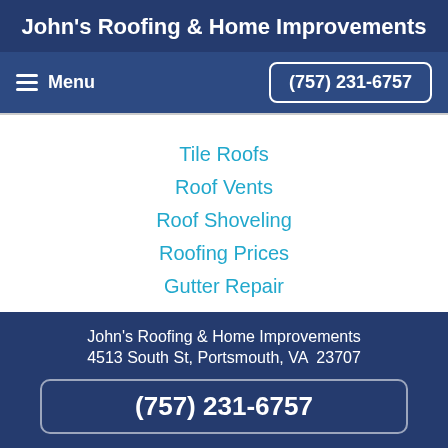John's Roofing & Home Improvements
Menu   (757) 231-6757
Tile Roofs
Roof Vents
Roof Shoveling
Roofing Prices
Gutter Repair
John's Roofing & Home Improvements
4513 South St, Portsmouth, VA  23707
(757) 231-6757